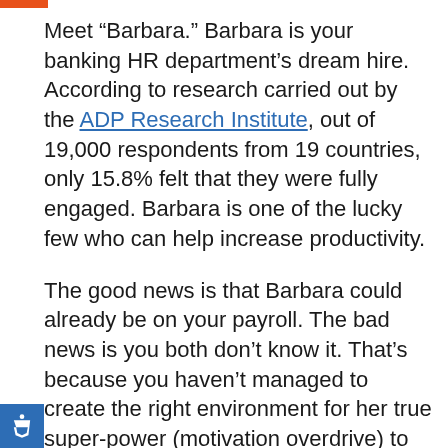Meet “Barbara.” Barbara is your banking HR department’s dream hire. According to research carried out by the ADP Research Institute, out of 19,000 respondents from 19 countries, only 15.8% felt that they were fully engaged. Barbara is one of the lucky few who can help increase productivity.
The good news is that Barbara could already be on your payroll. The bad news is you both don’t know it. That’s because you haven’t managed to create the right environment for her true super-power (motivation overdrive) to emerge.